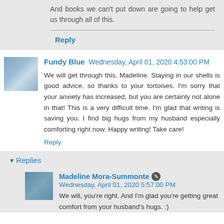And books we can't put down are going to help get us through all of this.
Reply
Fundy Blue  Wednesday, April 01, 2020 4:53:00 PM
We will get through this, Madeline. Staying in our shells is good advice, so thanks to your tortoises. I'm sorry that your anxiety has increased, but you are certainly not alone in that! This is a very difficult time. I'm glad that writing is saving you. I find big hugs from my husband especially comforting right now. Happy writing! Take care!
Reply
Replies
Madeline Mora-Summonte  Wednesday, April 01, 2020 5:57:00 PM
We will, you're right. And I'm glad you're getting great comfort from your husband's hugs. :)